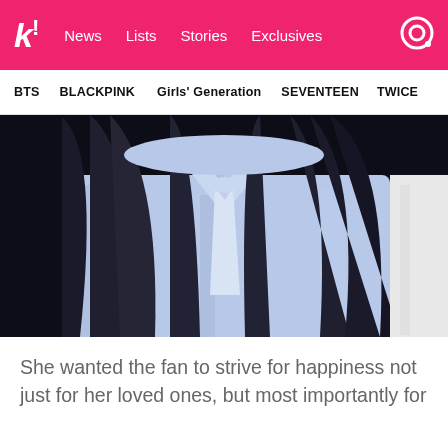k! News Lists Stories Exclusives
BTS BLACKPINK Girls' Generation SEVENTEEN TWICE
[Figure (photo): Person wearing a light blue dress shirt with a white tie, long dark hair falling over shoulders, dark background, another person in white shirt visible at right edge]
She wanted the fan to strive for happiness not just for her loved ones, but most importantly for